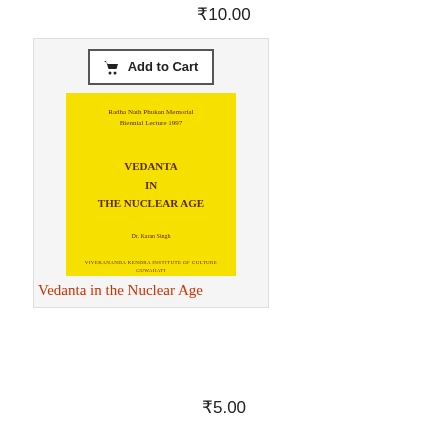₹10.00
[Figure (screenshot): Add to Cart button with shopping cart icon, dark border, white background]
[Figure (photo): Book cover: yellow background, title 'VEDANTA IN THE NUCLEAR AGE', subtitle 'Radha Nath Phukan Memorial Biennial Lecture 1997', author 'Dr. Karan Singh', publisher 'Vivekananda Kendra Institute of Culture, Guwahati']
Vedanta in the Nuclear Age
₹5.00